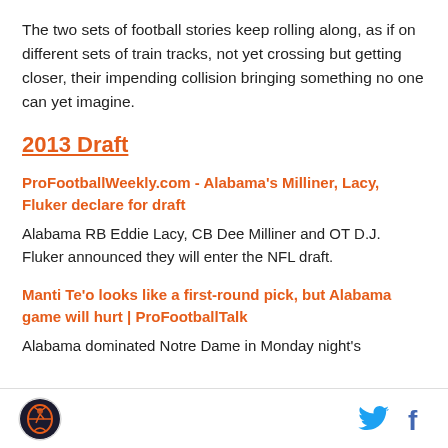The two sets of football stories keep rolling along, as if on different sets of train tracks, not yet crossing but getting closer, their impending collision bringing something no one can yet imagine.
2013 Draft
ProFootballWeekly.com - Alabama's Milliner, Lacy, Fluker declare for draft
Alabama RB Eddie Lacy, CB Dee Milliner and OT D.J. Fluker announced they will enter the NFL draft.
Manti Te'o looks like a first-round pick, but Alabama game will hurt | ProFootballTalk
Alabama dominated Notre Dame in Monday night's
SB Nation logo | Twitter | Facebook